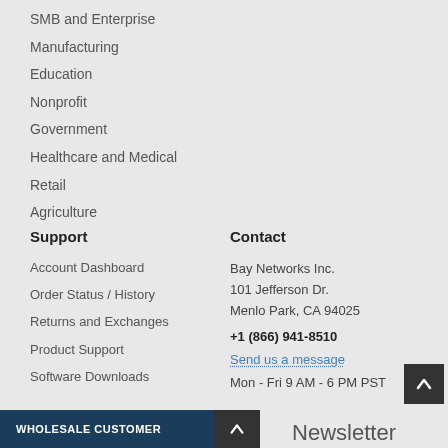SMB and Enterprise
Manufacturing
Education
Nonprofit
Government
Healthcare and Medical
Retail
Agriculture
Support
Account Dashboard
Order Status / History
Returns and Exchanges
Product Support
Software Downloads
Contact
Bay Networks Inc.
101 Jefferson Dr.
Menlo Park, CA 94025
+1 (866) 941-8510
Send us a message
Mon - Fri 9 AM - 6 PM PST
WHOLESALE CUSTOMER
Newsletter